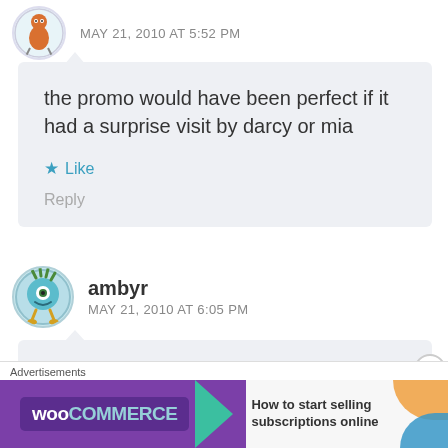MAY 21, 2010 AT 5:52 PM
the promo would have been perfect if it had a surprise visit by darcy or mia
Like
Reply
ambyr
MAY 21, 2010 AT 6:05 PM
Dave definitly likes alli(:
Advertisements
[Figure (screenshot): WooCommerce advertisement banner: 'How to start selling subscriptions online']